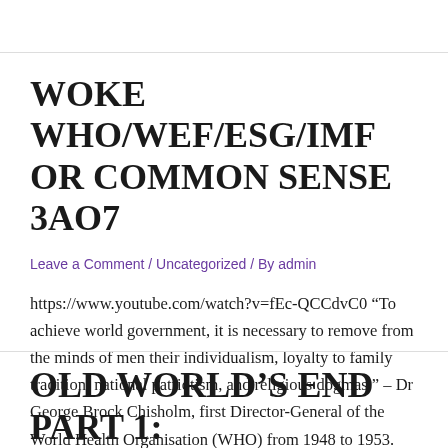WOKE WHO/WEF/ESG/IMF OR COMMON SENSE 3AO7
Leave a Comment / Uncategorized / By admin
https://www.youtube.com/watch?v=fEc-QCCdvC0 “To achieve world government, it is necessary to remove from the minds of men their individualism, loyalty to family tradition, national patriotism, and religious dogmas.” – Dr George Brock Chisholm, first Director-General of the World Health Organisation (WHO) from 1948 to 1953. The UN in general seems to be a largely woke, neo-Marxist, global …
Read More »
OLD WORLD’S END PART 1: